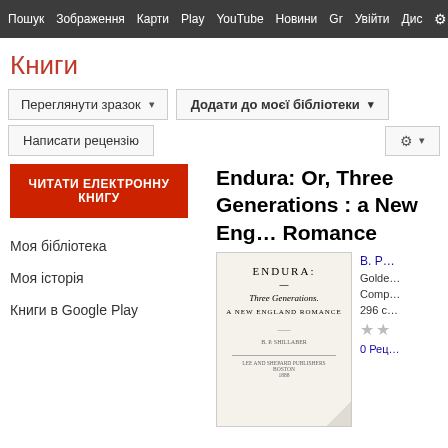Пошук  Зображення  Карти  Play  YouTube  Новини  Gr  Увійти  Дис  Б
Книги
Переглянути зразок ▾   Додати до моєї бібліотеки ▾
Написати рецензію   ⚙ ▾
ЧИТАТИ ЕЛЕКТРОННУ КНИГУ
Моя бібліотека
Моя історія
Книги в Google Play
Endura: Or, Three Generations : a New Eng… Romance
[Figure (illustration): Book cover of Endura showing the title page with text: ENDURA: Three Generations. A NEW ENGLAND ROMANCE, with author name and publisher info at bottom, showing a page curl at bottom right.]
B. P…
Golde…
Comp…
296 с…
★★…
0 Рец…